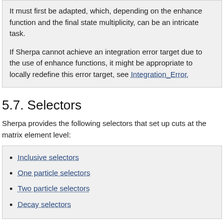It must first be adapted, which, depending on the enhance function and the final state multiplicity, can be an intricate task.

If Sherpa cannot achieve an integration error target due to the use of enhance functions, it might be appropriate to locally redefine this error target, see Integration_Error.
5.7. Selectors
Sherpa provides the following selectors that set up cuts at the matrix element level:
Inclusive selectors
One particle selectors
Two particle selectors
Decay selectors